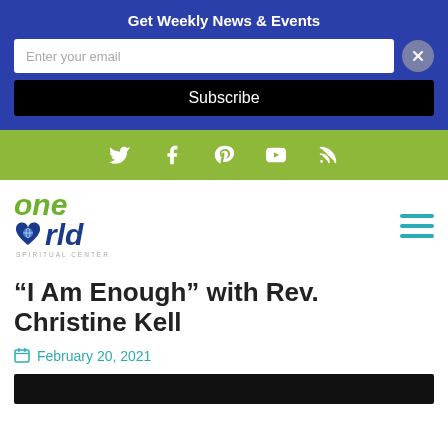Get Weekly News & Events
Enter your email
Subscribe
[Figure (infographic): Social media icons bar (Twitter, Facebook, Pinterest, YouTube, RSS) on green background]
[Figure (logo): One World logo with green 'one' and blue 'world' text with globe heart icon and subtitle text]
“I Am Enough” with Rev. Christine Kell
February 20, 2021
[Figure (screenshot): Dark video thumbnail at bottom of page]